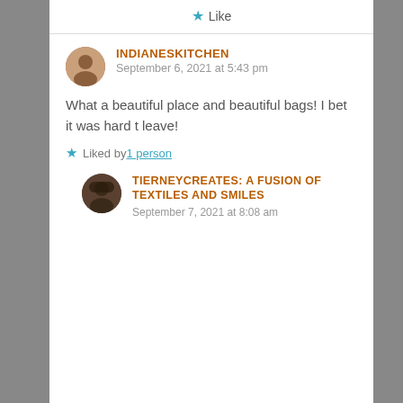★ Like
INDIANESKITCHEN
September 6, 2021 at 5:43 pm
What a beautiful place and beautiful bags! I bet it was hard t leave!
★ Liked by 1 person
TIERNEYCREATES: A FUSION OF TEXTILES AND SMILES
September 7, 2021 at 8:08 am